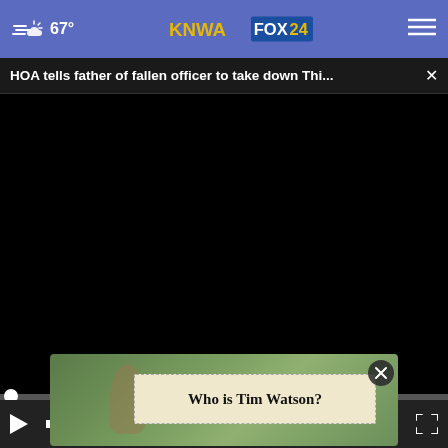67° KNWA FOX24 [menu]
HOA tells father of fallen officer to take down Thi... ×
[Figure (screenshot): Black video player area with scrubber bar and controls showing play button, mute icon, 00:00 timestamp, and fullscreen icon]
[Figure (screenshot): Thumbnail card showing 'Who is Tim Watson?' text label over an outdoor photo with a close button]